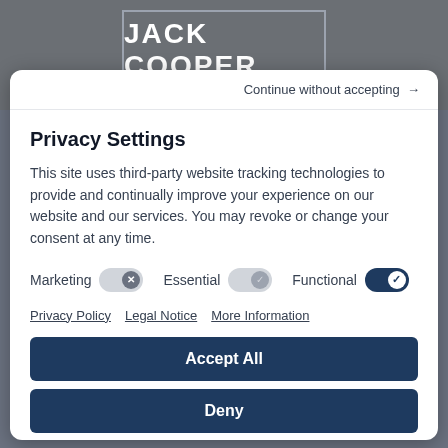[Figure (logo): Jack Cooper logo — white bold text on dark gray background with border]
Continue without accepting →
Privacy Settings
This site uses third-party website tracking technologies to provide and continually improve your experience on our website and our services. You may revoke or change your consent at any time.
Marketing [toggle off]   Essential [toggle neutral]   Functional [toggle on]
Privacy Policy   Legal Notice   More Information
Accept All
Deny
Save Settings
Powered by Usercentrics Consent Management